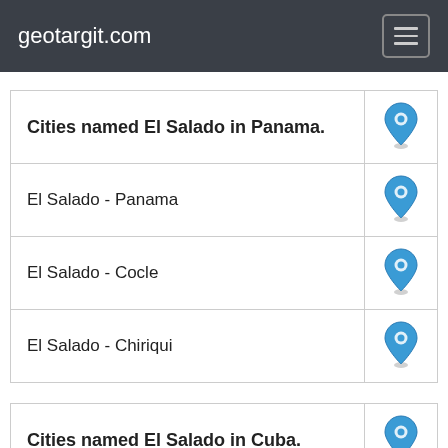geotargit.com
| Cities named El Salado in Panama. | icon |
| --- | --- |
| El Salado - Panama | pin |
| El Salado - Cocle | pin |
| El Salado - Chiriqui | pin |
| Cities named El Salado in Cuba. | icon |
| --- | --- |
| El Salado - Holguin | pin |
| El Salado - Granma | pin |